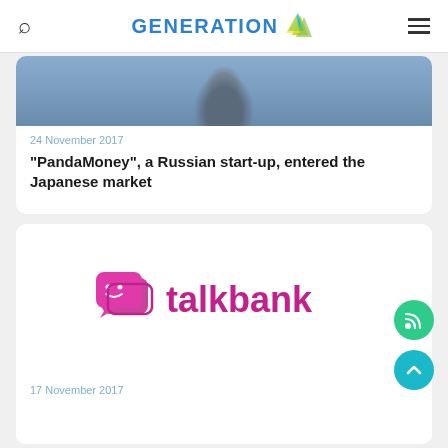GENERATION S
[Figure (photo): Photo of person wearing badge at an event]
24 November 2017
"PandaMoney", a Russian start-up, entered the Japanese market
[Figure (logo): TalkBank logo — chat bubble icon with smiley face and the text 'talkbank' in magenta/pink]
17 November 2017